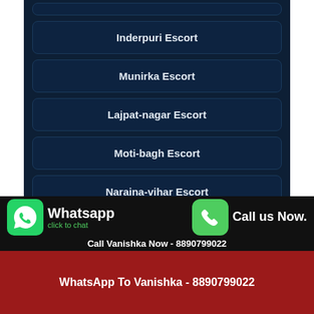Inderpuri Escort
Munirka Escort
Lajpat-nagar Escort
Moti-bagh Escort
Naraina-vihar Escort
Najafgarh Escort
Sagar-pur Escort
Whatsapp click to chat   Call us Now.   Call Vanishka Now - 8890799022
WhatsApp To Vanishka - 8890799022